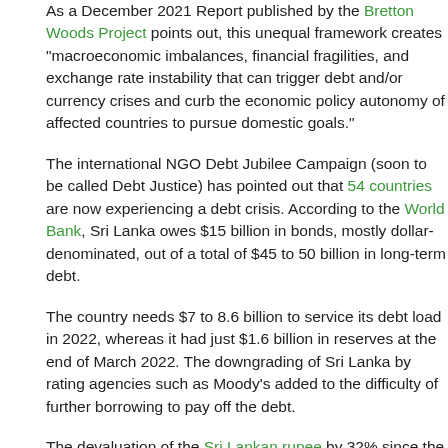As a December 2021 Report published by the Bretton Woods Project points out, this unequal framework creates "macroeconomic imbalances, financial fragilities, and exchange rate instability that can trigger debt and/or currency crises and curb the economic policy autonomy of affected countries to pursue domestic goals."
The international NGO Debt Jubilee Campaign (soon to be called Debt Justice) has pointed out that 54 countries are now experiencing a debt crisis. According to the World Bank, Sri Lanka owes $15 billion in bonds, mostly dollar-denominated, out of a total of $45 to 50 billion in long-term debt.
The country needs $7 to 8.6 billion to service its debt load in 2022, whereas it had just $1.6 billion in reserves at the end of March 2022. The downgrading of Sri Lanka by rating agencies such as Moody's added to the difficulty of further borrowing to pay off the debt.
The devaluation of the Sri Lankan rupee by 32% since the beginning of the year has made it the 'world's worst performing currency,' exacerbating the plight of the Sri Lankan people.